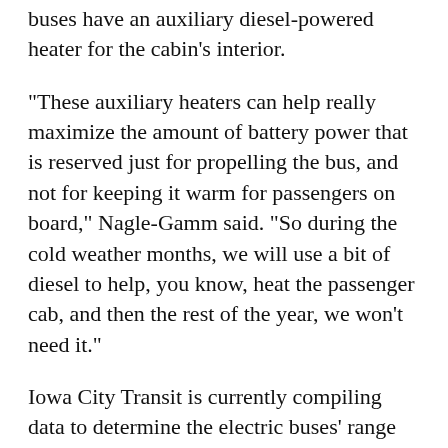buses have an auxiliary diesel-powered heater for the cabin's interior.
“These auxiliary heaters can help really maximize the amount of battery power that is reserved just for propelling the bus, and not for keeping it warm for passengers on board,” Nagle-Gamm said. “So during the cold weather months, we will use a bit of diesel to help, you know, heat the passenger cab, and then the rest of the year, we won’t need it.”
Iowa City Transit is currently compiling data to determine the electric buses’ range per charge. Each bus route has different energy requirements — depending on how hilly the roads are, how many stops the bus makes, how many passengers board the bus, length of the route, etc. — but Proterra estimates a 15 to 35 percent reduction during cold weather. Without the auxiliary heater, it would be a 35 to 45 percent reduction.